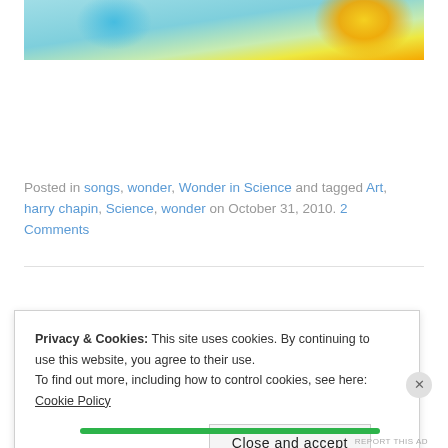[Figure (photo): Colorful abstract image with blue and teal tones on the left and yellow/orange gradient on the right, appearing to be a cropped decorative header image.]
Posted in songs, wonder, Wonder in Science and tagged Art, harry chapin, Science, wonder on October 31, 2010. 2 Comments
Privacy & Cookies: This site uses cookies. By continuing to use this website, you agree to their use.
To find out more, including how to control cookies, see here: Cookie Policy
Close and accept